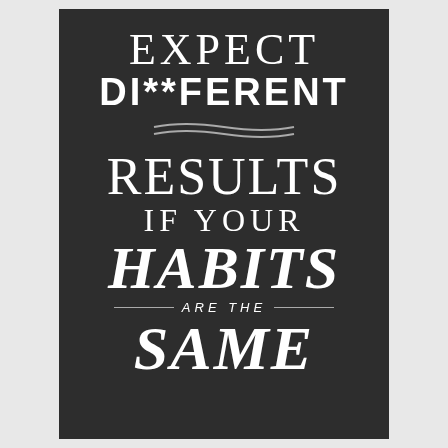[Figure (illustration): Motivational quote poster with dark charcoal background and white typography. Text reads: EXPECT DIFFERENT = RESULTS IF YOUR HABITS ARE THE SAME]